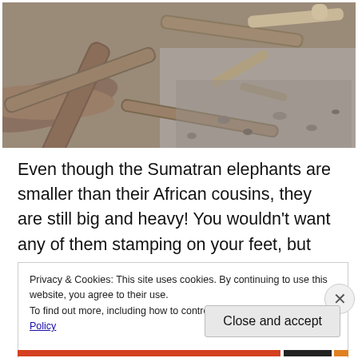[Figure (photo): Photograph of driftwood logs piled on a rocky/gravelly beach or ground, appearing to be elephant bones or old wood pieces scattered over dark gravel.]
Even though the Sumatran elephants are smaller than their African cousins, they are still big and heavy! You wouldn't want any of them stamping on your feet, but surprisingly enough they are very careful about where they
Privacy & Cookies: This site uses cookies. By continuing to use this website, you agree to their use.
To find out more, including how to control cookies, see here: Cookie Policy